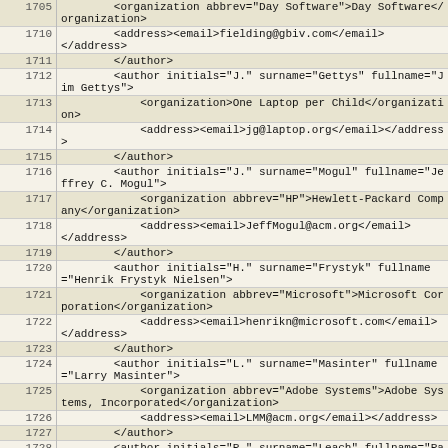| line | code |
| --- | --- |
| 1705 |         <organization abbrev="Day Software">Day Software</organization> |
| 1710 |         <address><email>fielding@gbiv.com</email>
</address> |
| 1711 |         </author> |
| 1712 |         <author initials="J." surname="Gettys" fullname="Jim Gettys"> |
| 1713 |             <organization>One Laptop per Child</organization> |
| 1714 |             <address><email>jg@laptop.org</email></address> |
| 1715 |         </author> |
| 1716 |         <author initials="J." surname="Mogul" fullname="Jeffrey C. Mogul"> |
| 1717 |             <organization abbrev="HP">Hewlett-Packard Company</organization> |
| 1718 |             <address><email>JeffMogul@acm.org</email>
</address> |
| 1719 |         </author> |
| 1720 |         <author initials="H." surname="Frystyk" fullname="Henrik Frystyk Nielsen"> |
| 1721 |             <organization abbrev="Microsoft">Microsoft Corporation</organization> |
| 1722 |             <address><email>henrikn@microsoft.com</email>
</address> |
| 1723 |         </author> |
| 1724 |         <author initials="L." surname="Masinter" fullname="Larry Masinter"> |
| 1725 |             <organization abbrev="Adobe Systems">Adobe Systems, Incorporated</organization> |
| 1726 |             <address><email>LMM@acm.org</email></address> |
| 1727 |         </author> |
| 1728 |         <author initials="P." surname="Leach" fullname="Paul J. Leach"> |
| 1729 |             <organization abbrev="Microsoft">Microsoft Corporation</organization> |
| 1730 |             <address><email>paulle@microsoft.com</email> |